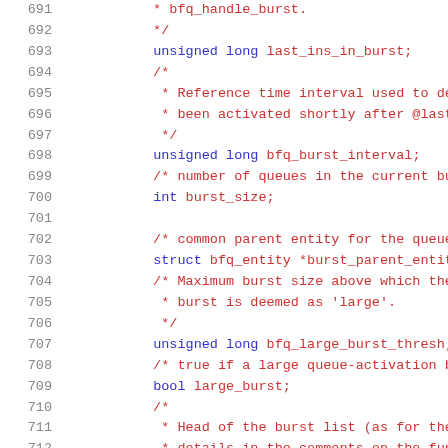Code listing lines 691-712, C source code with struct field declarations and comments for bfq (budget fair queueing) scheduler.